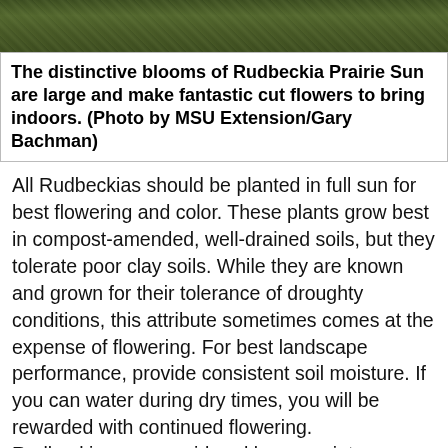[Figure (photo): Top strip showing foliage/plant photo of Rudbeckia Prairie Sun]
The distinctive blooms of Rudbeckia Prairie Sun are large and make fantastic cut flowers to bring indoors. (Photo by MSU Extension/Gary Bachman)
All Rudbeckias should be planted in full sun for best flowering and color. These plants grow best in compost-amended, well-drained soils, but they tolerate poor clay soils. While they are known and grown for their tolerance of droughty conditions, this attribute sometimes comes at the expense of flowering. For best landscape performance, provide consistent soil moisture. If you can water during dry times, you will be rewarded with continued flowering.
Rudbeckias are considered lower maintenance plants, but you must deadhead the fading flowers to keep the plants blooming all summer long.
The home gardener should take advantage of this summer-long blooming by bringing the landscape inside